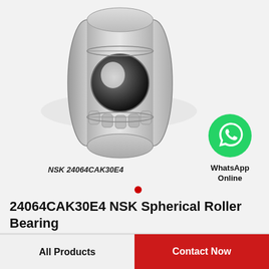[Figure (photo): Photo of NSK 24064CAK30E4 spherical roller bearing, metallic silver finish, showing barrel-shaped outer ring with internal rolling elements visible from an angled front view.]
NSK 24064CAK30E4
[Figure (logo): WhatsApp green circle icon with white phone handset symbol, labeled WhatsApp Online]
24064CAK30E4 NSK Spherical Roller Bearing
All Products
Contact Now